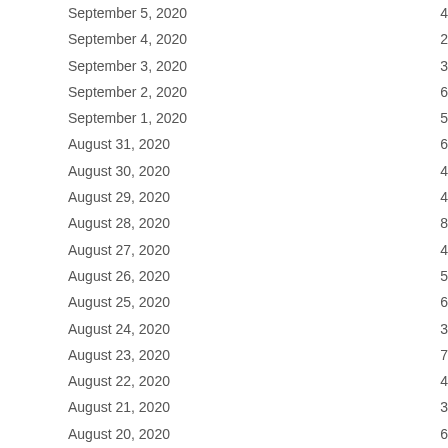| Date | Value |
| --- | --- |
| September 5, 2020 | 4 |
| September 4, 2020 | 2 |
| September 3, 2020 | 3 |
| September 2, 2020 | 6 |
| September 1, 2020 | 5 |
| August 31, 2020 | 6 |
| August 30, 2020 | 4 |
| August 29, 2020 | 4 |
| August 28, 2020 | 8 |
| August 27, 2020 | 4 |
| August 26, 2020 | 5 |
| August 25, 2020 | 6 |
| August 24, 2020 | 3 |
| August 23, 2020 | 7 |
| August 22, 2020 | 4 |
| August 21, 2020 | 3 |
| August 20, 2020 | 6 |
| August 19, 2020 | 2 |
| August 18, 2020 | 1 |
| August 17, 2020 | 9 |
| August 16, 2020 | 5 |
| August 15, 2020 | 7 |
| August 14, 2020 | 5 |